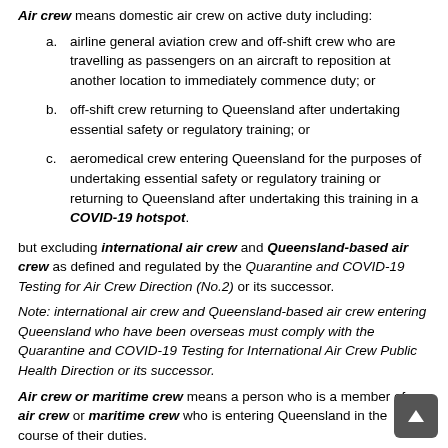Air crew means domestic air crew on active duty including:
a. airline general aviation crew and off-shift crew who are travelling as passengers on an aircraft to reposition at another location to immediately commence duty; or
b. off-shift crew returning to Queensland after undertaking essential safety or regulatory training; or
c. aeromedical crew entering Queensland for the purposes of undertaking essential safety or regulatory training or returning to Queensland after undertaking this training in a COVID-19 hotspot.
but excluding international air crew and Queensland-based air crew as defined and regulated by the Quarantine and COVID-19 Testing for Air Crew Direction (No.2) or its successor.
Note: international air crew and Queensland-based air crew entering Queensland who have been overseas must comply with the Quarantine and COVID-19 Testing for International Air Crew Public Health Direction or its successor.
Air crew or maritime crew means a person who is a member of an air crew or maritime crew who is entering Queensland in the course of their duties.
Approved airport means any airport in Australia.
Australia means the Commonwealth of Australia and includes the external